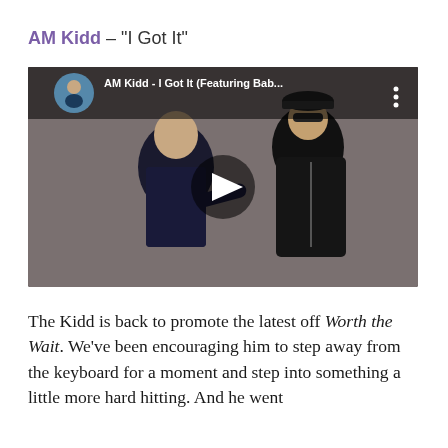AM Kidd – "I Got It"
[Figure (screenshot): YouTube video embed showing AM Kidd - I Got It (Featuring Bab...) with two men standing, one pointing, with a play button overlay and channel avatar in top left corner.]
The Kidd is back to promote the latest off Worth the Wait. We've been encouraging him to step away from the keyboard for a moment and step into something a little more hard hitting. And he went ahead and did it. We're going to have him on to give a little insight...